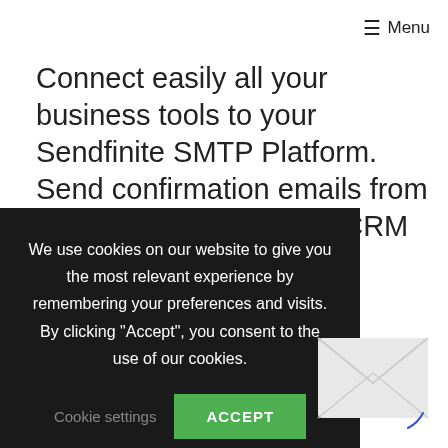≡ Menu
Connect easily all your business tools to your Sendfinite SMTP Platform. Send confirmation emails from e-commerce websites, CRM and more. Get real time statistics on outgoing …cated IP
We use cookies on our website to give you the most relevant experience by remembering your preferences and visits. By clicking "Accept", you consent to the use of our cookies.
Cookie settings   ACCEPT